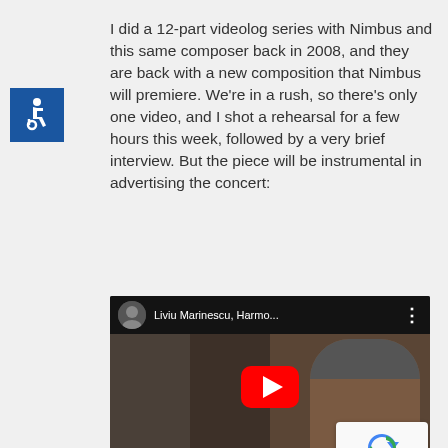[Figure (illustration): Blue square with white wheelchair accessibility icon]
I did a 12-part videolog series with Nimbus and this same composer back in 2008, and they are back with a new composition that Nimbus will premiere. We're in a rush, so there's only one video, and I shot a rehearsal for a few hours this week, followed by a very brief interview. But the piece will be instrumental in advertising the concert:
[Figure (screenshot): YouTube video embed showing 'Liviu Marinescu, Harmo...' with a man's face visible, red play button in center, and 'Liviu Marinescu' text at bottom. reCAPTCHA widget visible in bottom right corner.]